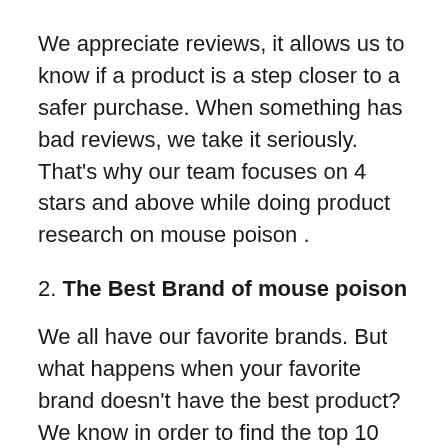We appreciate reviews, it allows us to know if a product is a step closer to a safer purchase. When something has bad reviews, we take it seriously. That's why our team focuses on 4 stars and above while doing product research on mouse poison .
2. The Best Brand of mouse poison
We all have our favorite brands. But what happens when your favorite brand doesn't have the best product? We know in order to find the top 10 best mouse poison on amazon, there needs to be an unbiased opinion to determine what the best brand is.
In order to stay unbiased and authentic, we